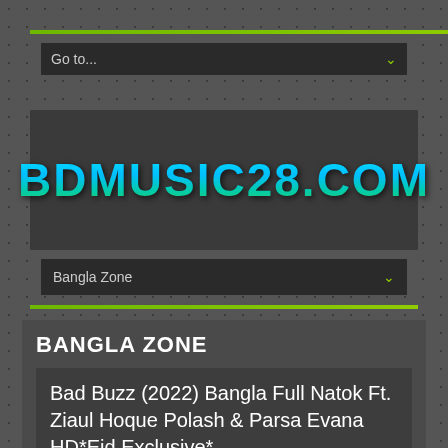[Figure (screenshot): Website screenshot of bdmusic28.com showing navigation dropdowns, site logo, and a Bangla Zone article listing]
Go to...
[Figure (logo): BDMUSIC28.COM logo in teal/cyan gradient bold uppercase letters]
Bangla Zone
BANGLA ZONE
Bad Buzz (2022) Bangla Full Natok Ft. Ziaul Hoque Polash & Parsa Evana HD*Eid Exclusive*
Rakib Media   May 7, 2022